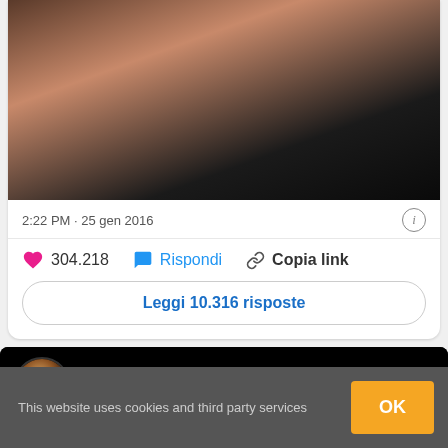[Figure (photo): Partial photo of a person with dark hair at top of card]
2:22 PM · 25 gen 2016
304.218   Rispondi   Copia link
Leggi 10.316 risposte
[Figure (screenshot): Video card with Drake avatar and title Rihanna - Work ft. Drake on black background]
This website uses cookies and third party services